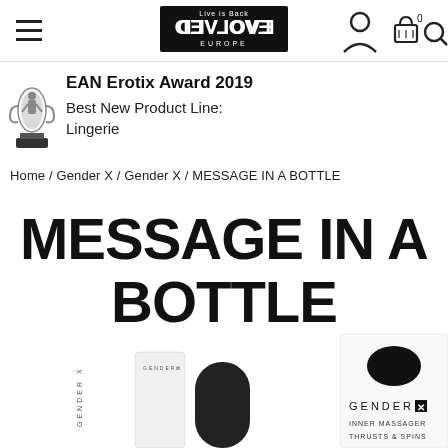[Figure (screenshot): Website navigation header with hamburger menu, Evolved Love Europe logo (mirrored text design), user account icon, shopping basket icon with 0 count, and search icon]
[Figure (illustration): EAN Erotix Award 2019 trophy statue (silver figurine on black base) with text: EAN Erotix Award 2019, Best New Product Line: Lingerie]
Home / Gender X / Gender X / MESSAGE IN A BOTTLE
MESSAGE IN A BOTTLE
[Figure (photo): Product packaging for Gender X Inner Massager - Thrusts & Spins, showing black product and packaging box with Gender X branding]